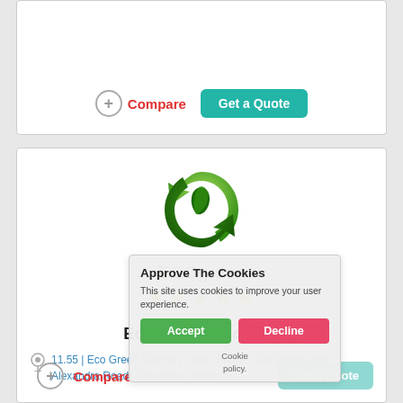[Figure (screenshot): Top card with Compare and Get a Quote buttons]
[Figure (logo): ECOgreen logo with green circular leaf design]
ECOgreen
★★★★★
Eco Green Partners
11.55 | Eco Green Partners , Now Space , Old Market hall , Alexandra Road , Clevedon , North...
Compare
[Figure (screenshot): Cookie consent overlay with Accept and Decline buttons]
Approve The Cookies
This site uses cookies to improve your user experience.
Accept
Decline
Cookie policy.